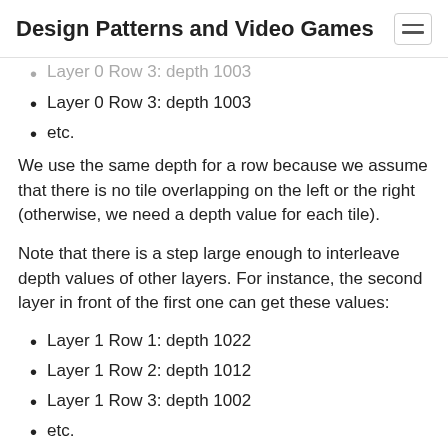Design Patterns and Video Games
Layer 0 Row 3: depth 1003
etc.
We use the same depth for a row because we assume that there is no tile overlapping on the left or the right (otherwise, we need a depth value for each tile).
Note that there is a step large enough to interleave depth values of other layers. For instance, the second layer in front of the first one can get these values:
Layer 1 Row 1: depth 1022
Layer 1 Row 2: depth 1012
Layer 1 Row 3: depth 1002
etc.